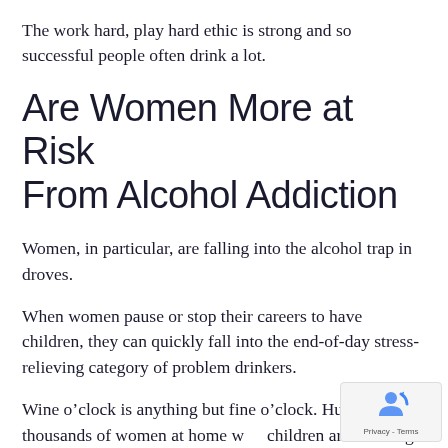The work hard, play hard ethic is strong and so successful people often drink a lot.
Are Women More at Risk From Alcohol Addiction
Women, in particular, are falling into the alcohol trap in droves.
When women pause or stop their careers to have children, they can quickly fall into the end-of-day stress-relieving category of problem drinkers.
Wine o’clock is anything but fine o’clock. Hundreds of thousands of women at home with children are drinking with the perceived